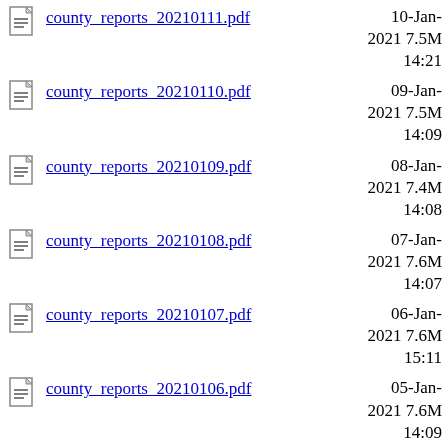county_reports_20210111.pdf  10-Jan-2021 7.5M 14:21
county_reports_20210110.pdf  09-Jan-2021 7.5M 14:09
county_reports_20210109.pdf  08-Jan-2021 7.4M 14:08
county_reports_20210108.pdf  07-Jan-2021 7.6M 14:07
county_reports_20210107.pdf  06-Jan-2021 7.6M 15:11
county_reports_20210106.pdf  05-Jan-2021 7.6M 14:09
county_reports_20210105.pdf  04-Jan-2021 7.6M 14:56
county_reports_20210104.pdf  03-Jan-2021 7.6M 14:09